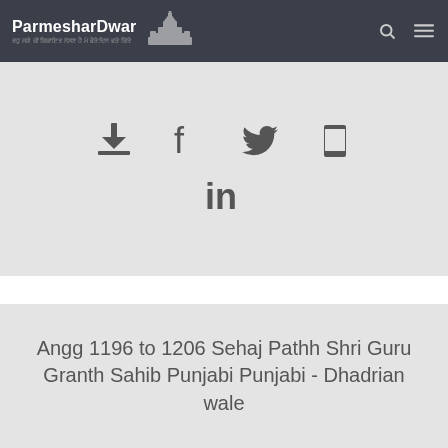ParmesharDwar
[Figure (infographic): Social share icons: download, Facebook, Twitter, phone, LinkedIn]
Angg 1196 to 1206 Sehaj Pathh Shri Guru Granth Sahib Punjabi Punjabi - Dhadrian wale